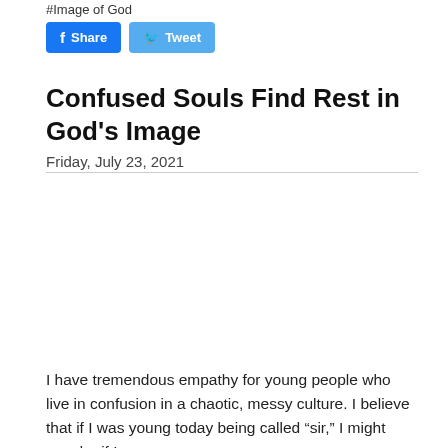#Image of God
Share   Tweet
Confused Souls Find Rest in God's Image
Friday, July 23, 2021
I have tremendous empathy for young people who live in confusion in a chaotic, messy culture. I believe that if I was young today being called “sir,” I might wonder if I